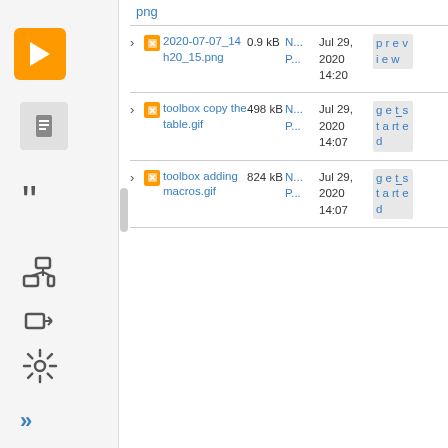[Figure (screenshot): Wiki/CMS file listing interface showing sidebar with navigation icons and a table of files with columns for name, size, type, date, and action]
png
2020-07-07_14h20_15.png — 0.9 kB — N... P... — Jul 29, 2020 14:20 — preview
toolbox copy the table.gif — 498 kB — N... P... — Jul 29, 2020 14:07 — get started
toolbox adding macros.gif — 824 kB — N... P... — Jul 29, 2020 14:07 — get started